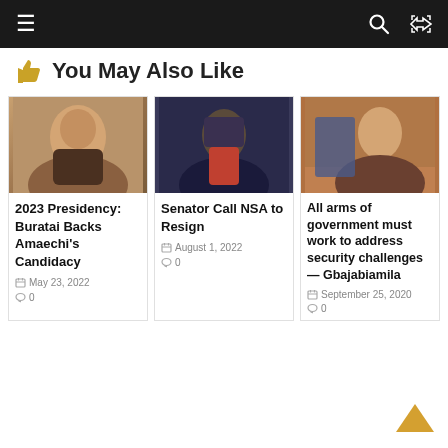Navigation bar with menu, search, and shuffle icons
👍 You May Also Like
[Figure (photo): Photo of Buratai smiling, wearing traditional African attire]
2023 Presidency: Buratai Backs Amaechi's Candidacy
May 23, 2022  0
[Figure (photo): Photo of a man in suit gesturing at a podium]
Senator Call NSA to Resign
August 1, 2022  0
[Figure (photo): Photo of Gbajabiamila speaking with military officer in background]
All arms of government must work to address security challenges — Gbajabiamila
September 25, 2020  0